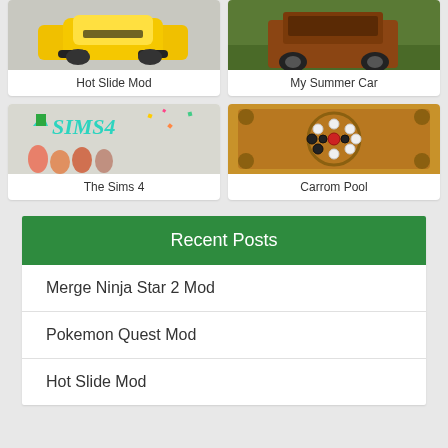[Figure (screenshot): Game card image for Hot Slide Mod showing yellow car]
Hot Slide Mod
[Figure (screenshot): Game card image for My Summer Car showing truck in nature]
My Summer Car
[Figure (screenshot): Game card image for The Sims 4 showing Sims 4 logo and characters]
The Sims 4
[Figure (screenshot): Game card image for Carrom Pool showing carrom board]
Carrom Pool
Recent Posts
Merge Ninja Star 2 Mod
Pokemon Quest Mod
Hot Slide Mod